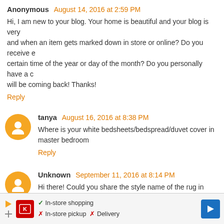Anonymous August 14, 2016 at 2:59 PM
Hi, I am new to your blog. Your home is beautiful and your blog is very and when an item gets marked down in store or online? Do you receive e certain time of the year or day of the month? Do you personally have a c will be coming back! Thanks!
Reply
tanya August 16, 2016 at 8:38 PM
Where is your white bedsheets/bedspread/duvet cover in master bedroom
Reply
Unknown September 11, 2016 at 8:14 PM
Hi there! Could you share the style name of the rug in your living room fr
Reply
Unknown September 26, 2016 at 12:38 PM
Your home is beautiful! Do you use the living room a lot? Will the f
[Figure (screenshot): Advertisement banner showing Kroger store info with in-store shopping checkmark, in-store pickup X, Delivery X, with navigation arrow icon]